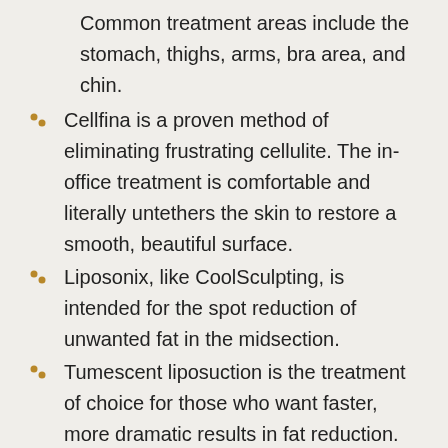Common treatment areas include the stomach, thighs, arms, bra area, and chin.
Cellfina is a proven method of eliminating frustrating cellulite. The in-office treatment is comfortable and literally untethers the skin to restore a smooth, beautiful surface.
Liposonix, like CoolSculpting, is intended for the spot reduction of unwanted fat in the midsection.
Tumescent liposuction is the treatment of choice for those who want faster, more dramatic results in fat reduction.
Liposculpting is a precision liposuction technique that is used to sculpt smaller areas of the body or face.
We are proud to offer a comprehensive menu of